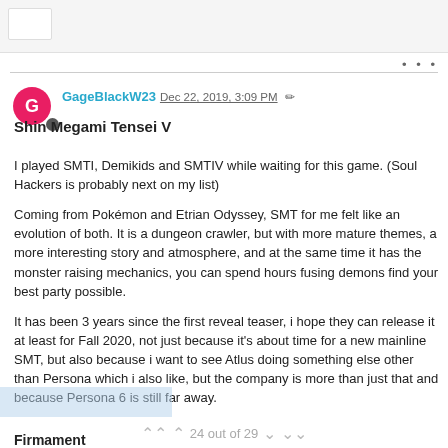GageBlackW23 Dec 22, 2019, 3:09 PM
Shin Megami Tensei V
I played SMTI, Demikids and SMTIV while waiting for this game. (Soul Hackers is probably next on my list)
Coming from Pokémon and Etrian Odyssey, SMT for me felt like an evolution of both. It is a dungeon crawler, but with more mature themes, a more interesting story and atmosphere, and at the same time it has the monster raising mechanics, you can spend hours fusing demons find your best party possible.
It has been 3 years since the first reveal teaser, i hope they can release it at least for Fall 2020, not just because it's about time for a new mainline SMT, but also because i want to see Atlus doing something else other than Persona which i also like, but the company is more than just that and because Persona 6 is still far away.
24 out of 29
Firmament